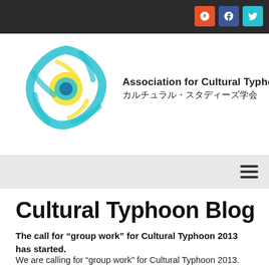[Figure (logo): Association for Cultural Typhoon logo: swirling typhoon design in cyan/blue/yellow with a crab motif. Text reads 'Association for Cultural Typhoon' and 'カルチュラル・スタディーズ学会']
Cultural Typhoon Blog
Cultural Typhoon Blog
The call for “group work” for Cultural Typhoon 2013 has started.
We are calling for “group work” for Cultural Typhoon 2013. Please check with the following link if you are interested in